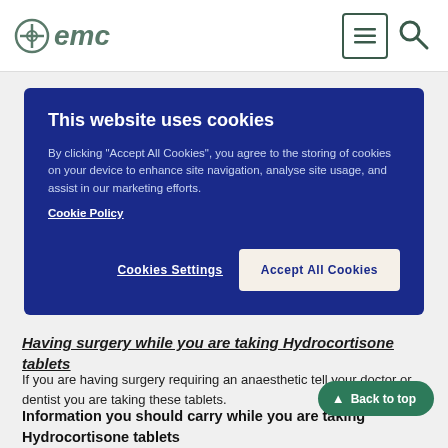emc
[Figure (other): Cookie consent overlay with title 'This website uses cookies', body text about cookie usage, Cookie Policy link, Cookies Settings button, and Accept All Cookies button on blue background]
Having surgery while you are taking Hydrocortisone tablets
If you are having surgery requiring an anaesthetic tell your doctor or dentist you are taking these tablets.
Information you should carry while you are taking Hydrocortisone tablets
If you are taking Hydrocortisone tablets for more than three weeks you will be given a blue steroid alert card by your pharmacist. It shows what medication you are taking and who your doctor is in case of an emergency.
If you have an accident, fall ill or see a different doctor while taking